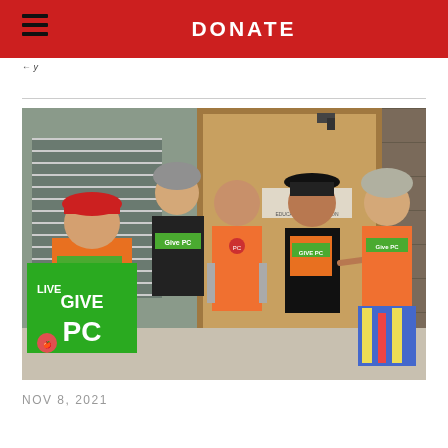DONATE
← y
[Figure (photo): Five women standing in front of a door labeled 'Park City Education Foundation'. They are wearing orange 'Give PC' shirts. One woman holds a green sign reading 'LIVE GIVE PC'. Some wear hats and winter accessories.]
NOV 8, 2021